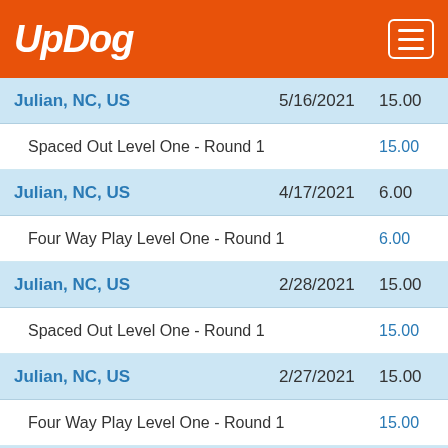UpDog
| Location | Date | Score |
| --- | --- | --- |
| Julian, NC, US | 5/16/2021 | 15.00 |
| Spaced Out Level One - Round 1 |  | 15.00 |
| Julian, NC, US | 4/17/2021 | 6.00 |
| Four Way Play Level One - Round 1 |  | 6.00 |
| Julian, NC, US | 2/28/2021 | 15.00 |
| Spaced Out Level One - Round 1 |  | 15.00 |
| Julian, NC, US | 2/27/2021 | 15.00 |
| Four Way Play Level One - Round 1 |  | 15.00 |
| Julian, NC, US | 10/24/2020 | 15.00 |
| Four Way Play Level One - Round 1 |  | 15.00 |
| Julian, NC, US | 10/3/2020 | 13.00 |